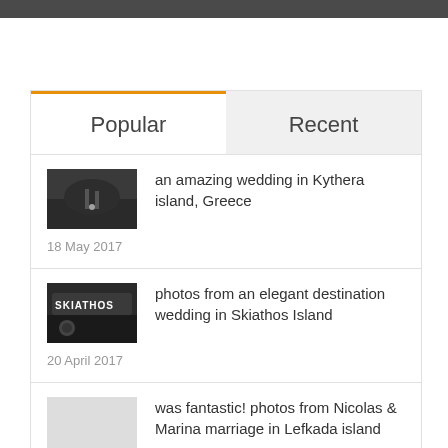Popular
Recent
an amazing wedding in Kythera island, Greece
18 May 2017
[Figure (photo): Dark landscape/venue photo for Kythera island wedding]
photos from an elegant destination wedding in Skiathos Island
20 April 2017
[Figure (photo): Black and white photo with SKIATHOS text for Skiathos Island wedding]
was fantastic! photos from Nicolas & Marina marriage in Lefkada island
17 January 2017